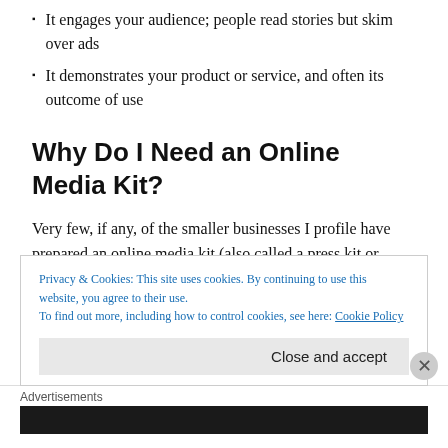It engages your audience; people read stories but skim over ads
It demonstrates your product or service, and often its outcome of use
Why Do I Need an Online Media Kit?
Very few, if any, of the smaller businesses I profile have prepared an online media kit (also called a press kit or digital media kit) in advance. This means the business
Privacy & Cookies: This site uses cookies. By continuing to use this website, you agree to their use.
To find out more, including how to control cookies, see here: Cookie Policy
Close and accept
Advertisements